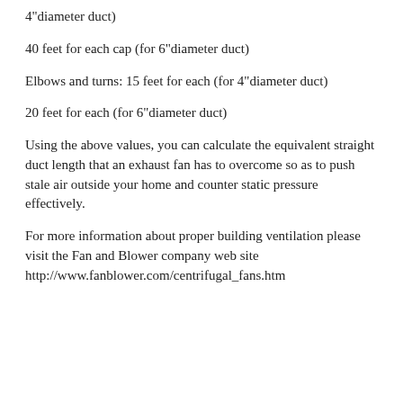4"diameter duct)
40 feet for each cap (for 6"diameter duct)
Elbows and turns: 15 feet for each (for 4"diameter duct)
20 feet for each (for 6"diameter duct)
Using the above values, you can calculate the equivalent straight duct length that an exhaust fan has to overcome so as to push stale air outside your home and counter static pressure effectively.
For more information about proper building ventilation please visit the Fan and Blower company web site http://www.fanblower.com/centrifugal_fans.htm